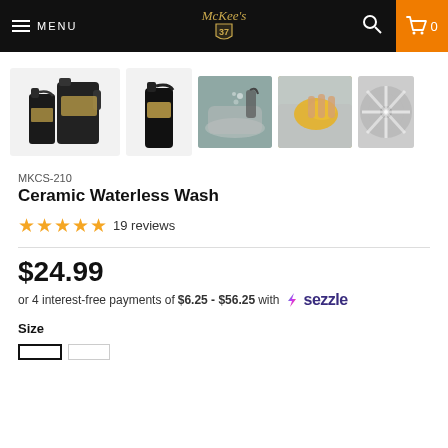MENU | Mckee's 37 logo | Search | Cart 0
[Figure (photo): Product thumbnails: two-pack spray bottles product shot, single spray bottle, car being sprayed, car being wiped with yellow cloth, wheel close-up]
MKCS-210
Ceramic Waterless Wash
★★★★★ 19 reviews
$24.99
or 4 interest-free payments of $6.25 - $56.25 with ⚡ sezzle
Size